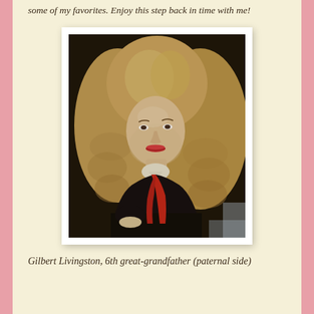some of my favorites. Enjoy this step back in time with me!
[Figure (photo): Historical oil portrait painting of Gilbert Livingston, a young man with long curly blonde/auburn wig, wearing a dark coat with red sash, shown from the chest up against a dark background. The photo is displayed in a white polaroid-style frame.]
Gilbert Livingston, 6th great-grandfather (paternal side)